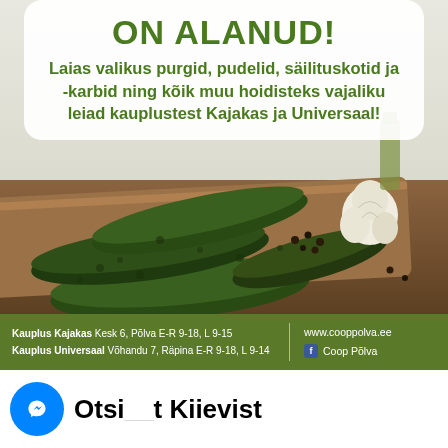ON ALANUD!
Laias valikus purgid, pudelid, säilituskotid ja -karbid ning kõik muu hoidisteks vajaliku leiad kauplustest Kajakas ja Universaal!
[Figure (photo): Photo of fresh dark green cucumbers on a wooden cutting board with garlic and peppercorns on a light background]
Kauplus Kajakas  Kesk 6, Põlva  E-R 9-18, L 9-15
Kauplus Universaal  Võhandu 7, Räpina  E-R 9-18, L 9-14
www.cooppolva.ee
Coop Põlva
Otsi__t Kiievist